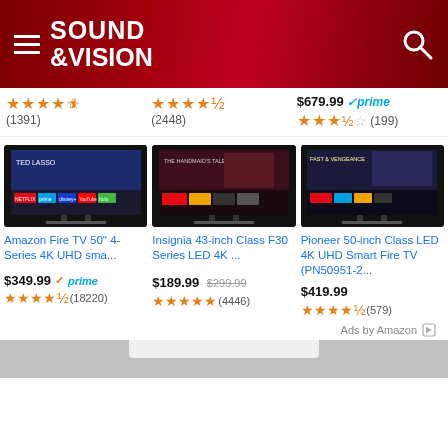Sound & Vision
★★★★½ (1391)
★★★★½ (2448)
$679.99  prime  ★★★½ (199)
[Figure (screenshot): Amazon Fire TV 50 inch displaying Ted Lasso on screen with streaming service logos]
[Figure (screenshot): Insignia 43-inch Class F30 LED 4K TV displaying The Handmaid's Tale]
[Figure (screenshot): Pioneer 50-inch Class LED 4K UHD Smart Fire TV displaying movie content]
Amazon Fire TV 50" 4-Series 4K UHD sma...
$349.99  prime  ★★★★½ (18220)
Insignia 43-inch Class F30 Series LED 4K ...  $189.99 $299.99  ★★★★★ (4446)
Pioneer 50-inch Class LED 4K UHD Smart Fire TV (PN50951-2...  $419.99  ★★★★½ (579)
Ads by Amazon